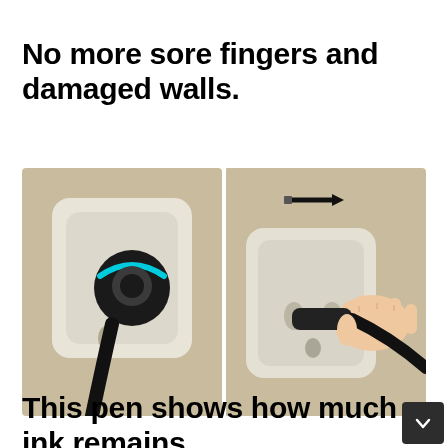No more sore fingers and damaged walls.
[Figure (photo): Two-panel photo showing a smart plug device plugged into a wall outlet (left panel, with blue LED ring visible on the plug handle) and a hand using the device to easily remove a plug from the outlet (right panel, with an arrow indicating push direction).]
This pen shows how much ink remains